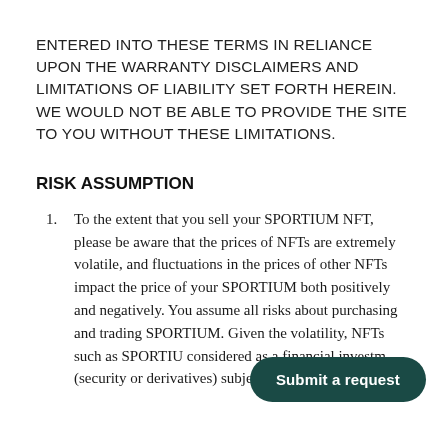ENTERED INTO THESE TERMS IN RELIANCE UPON THE WARRANTY DISCLAIMERS AND LIMITATIONS OF LIABILITY SET FORTH HEREIN. WE WOULD NOT BE ABLE TO PROVIDE THE SITE TO YOU WITHOUT THESE LIMITATIONS.
RISK ASSUMPTION
To the extent that you sell your SPORTIUM NFT, please be aware that the prices of NFTs are extremely volatile, and fluctuations in the prices of other NFTs impact the price of your SPORTIUM both positively and negatively. You assume all risks about purchasing and trading SPORTIUM. Given the volatility, NFTs such as SPORTIU... considered as a financial investm... (security or derivatives) subject to the Financial